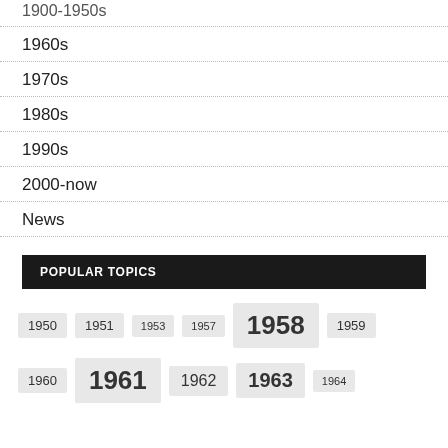1900-1950s
1960s
1970s
1980s
1990s
2000-now
News
POPULAR TOPICS
1950, 1951, 1953, 1957, 1958, 1959, 1960, 1961, 1962, 1963, 1964